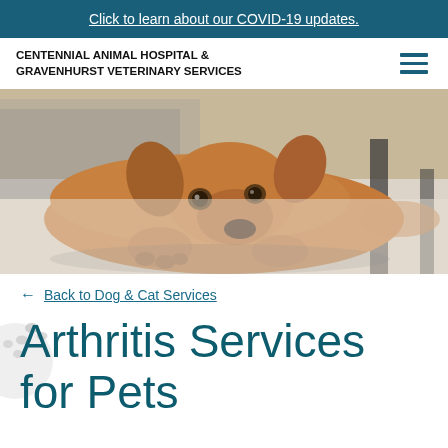Click to learn about our COVID-19 updates.
CENTENNIAL ANIMAL HOSPITAL & GRAVENHURST VETERINARY SERVICES
[Figure (photo): A brown/tan dog lying on a light-colored carpet with its head resting on its paws, looking directly at the camera. A grey couch and dark furniture legs are visible in the background.]
← Back to Dog & Cat Services
Arthritis Services for Pets